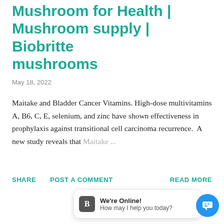Mushroom for Health | Mushroom supply | Biobritte mushrooms
May 18, 2022
Maitake and Bladder Cancer Vitamins. High-dose multivitamins A, B6, C, E, selenium, and zinc have shown effectiveness in prophylaxis against transitional cell carcinoma recurrence.  A new study reveals that Maitake ...
SHARE   POST A COMMENT   READ MORE
[Figure (screenshot): Chat widget with Blogger icon, 'We're Online!' message, 'How may I help you today?' text, and a blue circular chat button.]